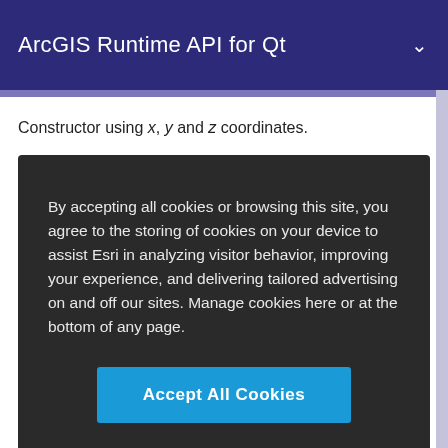ArcGIS Runtime API for Qt
Constructor using x, y and z coordinates.
By accepting all cookies or browsing this site, you agree to the storing of cookies on your device to assist Esri in analyzing visitor behavior, improving your experience, and delivering tailored advertising on and off our sites. Manage cookies here or at the bottom of any page.
Accept All Cookies
Cookies Settings
spatialReference.